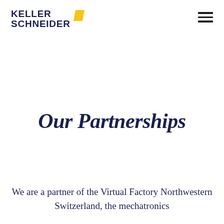[Figure (logo): Keller Schneider logo with bold dark navy text and yellow diamond/square shape]
Our Partnerships
We are a partner of the Virtual Factory Northwestern Switzerland, the mechatronics